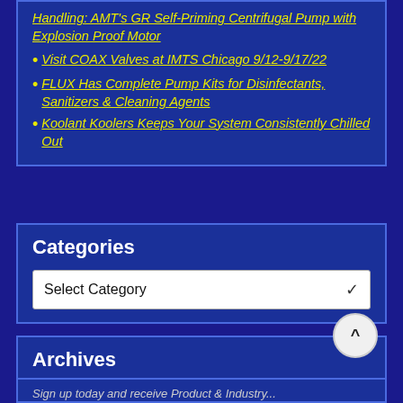Handling: AMT's GR Self-Priming Centrifugal Pump with Explosion Proof Motor
Visit COAX Valves at IMTS Chicago 9/12-9/17/22
FLUX Has Complete Pump Kits for Disinfectants, Sanitizers & Cleaning Agents
Koolant Koolers Keeps Your System Consistently Chilled Out
Categories
Select Category
Archives
Select Month
Sign up today and receive Product & Industry...